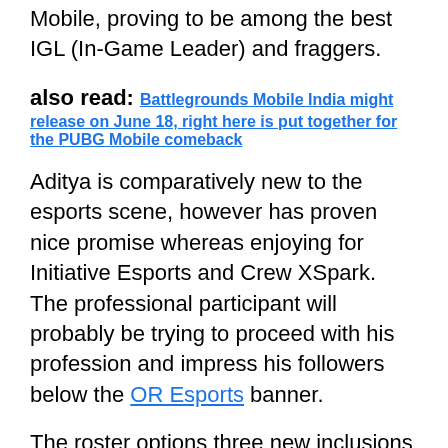Mobile, proving to be among the best IGL (In-Game Leader) and fraggers.
also read: Battlegrounds Mobile India might release on June 18, right here is put together for the PUBG Mobile comeback
Aditya is comparatively new to the esports scene, however has proven nice promise whereas enjoying for Initiative Esports and Crew XSpark. The professional participant will probably be trying to proceed with his profession and impress his followers below the OR Esports banner.
The roster options three new inclusions within the type of Aditya, Destro, and Vexe.